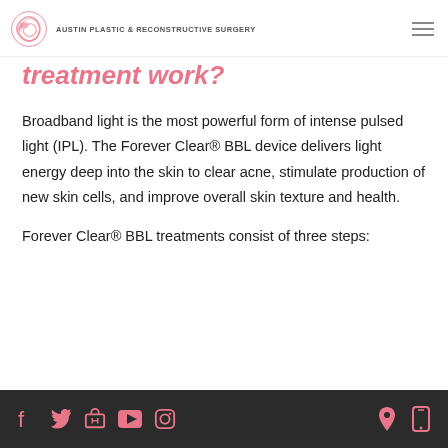AUSTIN PLASTIC & RECONSTRUCTIVE SURGERY
treatment work?
Broadband light is the most powerful form of intense pulsed light (IPL). The Forever Clear® BBL device delivers light energy deep into the skin to clear acne, stimulate production of new skin cells, and improve overall skin texture and health.
Forever Clear® BBL treatments consist of three steps:
Social icons: Facebook, Twitter, Shop, YouTube, Instagram | Location, Phone